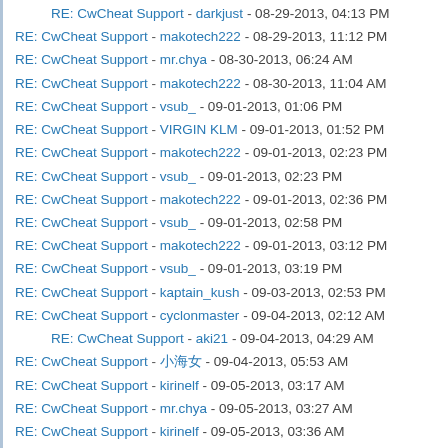RE: CwCheat Support - darkjust - 08-29-2013, 04:13 PM
RE: CwCheat Support - makotech222 - 08-29-2013, 11:12 PM
RE: CwCheat Support - mr.chya - 08-30-2013, 06:24 AM
RE: CwCheat Support - makotech222 - 08-30-2013, 11:04 AM
RE: CwCheat Support - vsub_ - 09-01-2013, 01:06 PM
RE: CwCheat Support - VIRGIN KLM - 09-01-2013, 01:52 PM
RE: CwCheat Support - makotech222 - 09-01-2013, 02:23 PM
RE: CwCheat Support - vsub_ - 09-01-2013, 02:23 PM
RE: CwCheat Support - makotech222 - 09-01-2013, 02:36 PM
RE: CwCheat Support - vsub_ - 09-01-2013, 02:58 PM
RE: CwCheat Support - makotech222 - 09-01-2013, 03:12 PM
RE: CwCheat Support - vsub_ - 09-01-2013, 03:19 PM
RE: CwCheat Support - kaptain_kush - 09-03-2013, 02:53 PM
RE: CwCheat Support - cyclonmaster - 09-04-2013, 02:12 AM
RE: CwCheat Support - aki21 - 09-04-2013, 04:29 AM
RE: CwCheat Support - 小海女 - 09-04-2013, 05:53 AM
RE: CwCheat Support - kirinelf - 09-05-2013, 03:17 AM
RE: CwCheat Support - mr.chya - 09-05-2013, 03:27 AM
RE: CwCheat Support - kirinelf - 09-05-2013, 03:36 AM
RE: CwCheat Support - mr.chya - 09-05-2013, 03:43 AM
RE: CwCheat Support - dlanor - 09-05-2013, 11:25 AM
RE: CwCheat Support - makotech222 - 09-05-2013, 09:14 PM
RE: CwCheat Support - JackyMacky - 09-06-2013, 07:44 AM
RE: CwCheat Support - dlanor - 09-06-2013, 09:19 AM